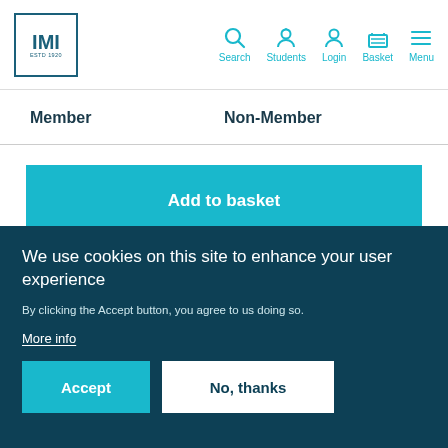[Figure (logo): IMI logo, square border with text IMI and ESTD 1920]
Search  Students  Login  Basket  Menu
| Member | Non-Member |
| --- | --- |
Add to basket
We use cookies on this site to enhance your user experience
By clicking the Accept button, you agree to us doing so.
More info
Accept
No, thanks